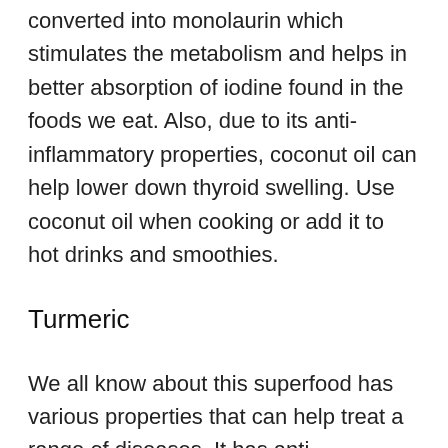converted into monolaurin which stimulates the metabolism and helps in better absorption of iodine found in the foods we eat. Also, due to its anti-inflammatory properties, coconut oil can help lower down thyroid swelling. Use coconut oil when cooking or add it to hot drinks and smoothies.
Turmeric
We all know about this superfood has various properties that can help treat a range of diseases. It has anti-inflammatory and antioxidant properties that help reduce goiter inflammation and protect the body from free